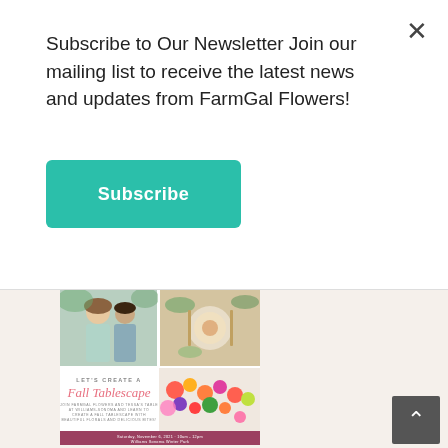Subscribe to Our Newsletter Join our mailing list to receive the latest news and updates from FarmGal Flowers!
[Figure (other): Teal/green Subscribe button for newsletter sign-up]
[Figure (illustration): Event flyer showing two women posing, a table setting, a fruit and flower spread, with text 'LET'S CREATE A Fall Tablescape - JOIN FARMGAL FLOWERS AND TESSA'S TABLE AT WILLIAMS-SONOMA AND LEARN TO CREATE A FALL TABLESCAPE WITH BEAUTIFUL FLORALS AND DELICIOUS BITES!' and a date bar: Saturday, November 6, 2021 · 10am - 12pm · Williams Sonoma Winter Park]